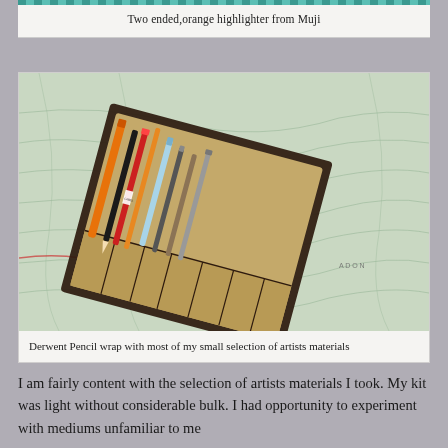Two ended, orange highlighter from Muji
[Figure (photo): A Derwent Pencil wrap open on a topographic map, containing several artists materials including pencils, pens, and brushes]
Derwent Pencil wrap with most of my small selection of artists materials
I am fairly content with the selection of artists materials I took. My kit was light without considerable bulk. I had opportunity to experiment with mediums unfamiliar to me